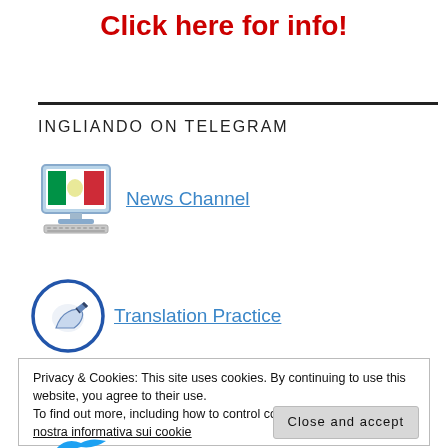Click here for info!
INGLIANDO ON TELEGRAM
[Figure (illustration): Computer monitor icon with flag image on screen and keyboard below, representing a News Channel link]
News Channel
[Figure (illustration): Circle icon with hand/writing image inside, representing a Translation Practice link]
Translation Practice
Privacy & Cookies: This site uses cookies. By continuing to use this website, you agree to their use.
To find out more, including how to control cookies, see here: La nostra informativa sui cookie
Close and accept